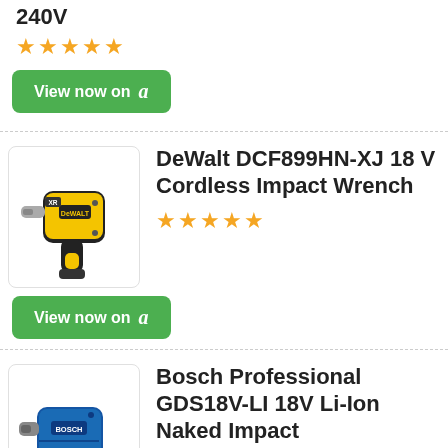240V
[Figure (other): Five gold star rating]
[Figure (other): View now on Amazon green button]
[Figure (photo): DeWalt DCF899HN-XJ 18V cordless impact wrench, yellow and black]
DeWalt DCF899HN-XJ 18 V Cordless Impact Wrench
[Figure (other): Five gold star rating]
[Figure (other): View now on Amazon green button]
[Figure (photo): Bosch Professional GDS18V-LI 18V Li-Ion Naked Impact cordless tool, blue and black]
Bosch Professional GDS18V-LI 18V Li-Ion Naked Impact